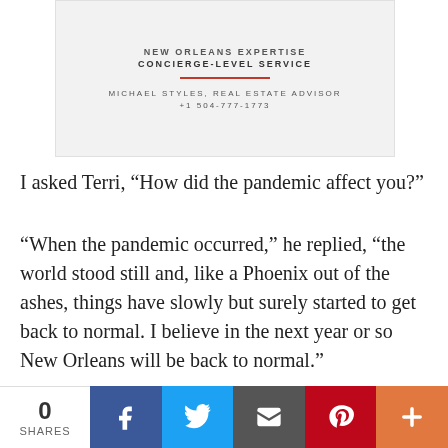[Figure (other): Real estate advertisement card for Michael Styles, Real Estate Advisor. Text reads: NEW ORLEANS EXPERTISE / CONCIERGE-LEVEL SERVICE / MICHAEL STYLES, REAL ESTATE ADVISOR / +1 504-777-1773. Red separator line between tagline and contact info.]
I asked Terri, “How did the pandemic affect you?”
“When the pandemic occurred,” he replied, “the world stood still and, like a Phoenix out of the ashes, things have slowly but surely started to get back to normal. I believe in the next year or so New Orleans will be back to normal.”
You can see Terri S. Aqui in several places. She has a few shifts at Good Friends, and you can catch her on stage hosting TerriOke Tuesday nights at Good Friends and Wednesday nights at Cafe Lafitte in Exile, along with his
0 SHARES | Facebook | Twitter | Email | Pinterest | More